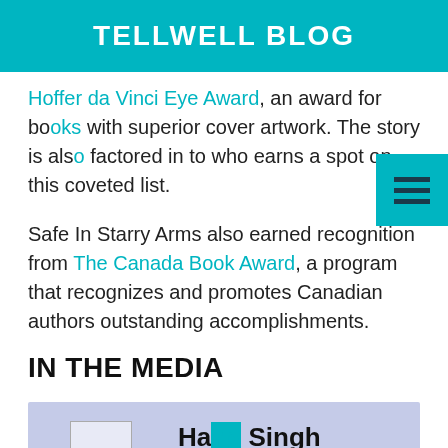TELLWELL BLOG
Hoffer da Vinci Eye Award, an award for books with superior cover artwork. The story is also factored in to who earns a spot on this coveted list.
Safe In Starry Arms also earned recognition from The Canada Book Award, a program that recognizes and promotes Canadian authors outstanding accomplishments.
IN THE MEDIA
[Figure (photo): Media image showing '— Ha[covered] Singh Pandher' text with a book illustration, partially covered by a scroll-to-top button overlay]